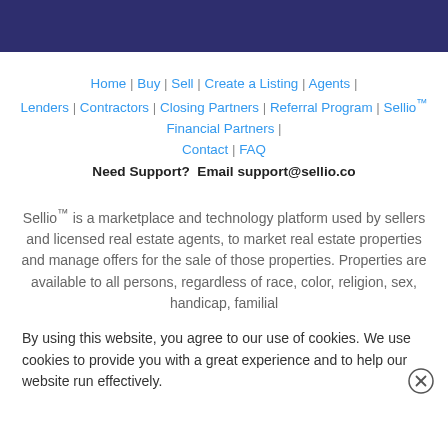Home | Buy | Sell | Create a Listing | Agents | Lenders | Contractors | Closing Partners | Referral Program | Sellio™ Financial Partners  | Contact | FAQ
Need Support?  Email support@sellio.co
Sellio™ is a marketplace and technology platform used by sellers and licensed real estate agents, to market real estate properties and manage offers for the sale of those properties. Properties are available to all persons, regardless of race, color, religion, sex, handicap, familial
By using this website, you agree to our use of cookies. We use cookies to provide you with a great experience and to help our website run effectively.